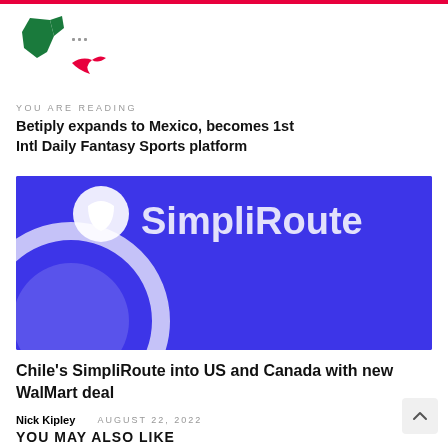[Figure (logo): Website logo with green map/bird shape and red bird shape below]
YOU ARE READING
Betiply expands to Mexico, becomes 1st Intl Daily Fantasy Sports platform
[Figure (photo): Blue banner image showing SimpliRoute branding with white logo and text on blue background]
Chile's SimpliRoute into US and Canada with new WalMart deal
Nick Kipley  AUGUST 22, 2022
YOU MAY ALSO LIKE